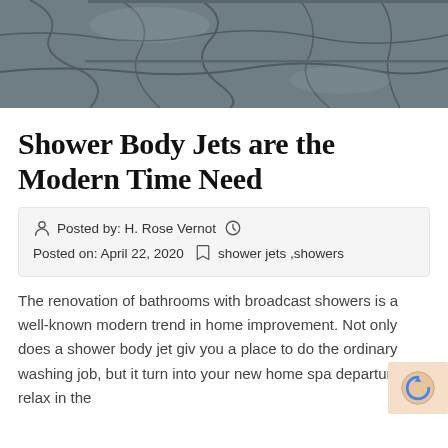[Figure (photo): Stone wall texture — dark gray slate/stone pattern, cropped at top of page]
Shower Body Jets are the Modern Time Need
Posted by: H. Rose Vernot  Posted on: April 22, 2020  shower jets , showers
The renovation of bathrooms with broadcast showers is a well-known modern trend in home improvement. Not only does a shower body jet give you a place to do the ordinary washing job, but it turn into your new home spa departure to relax in the